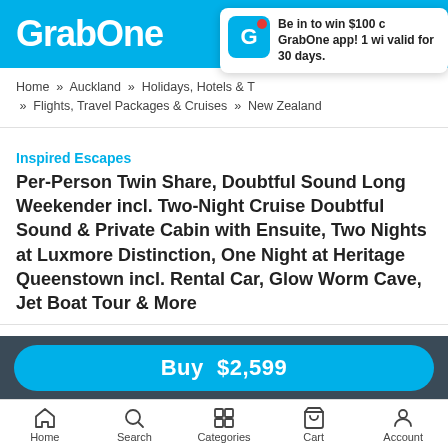GrabOne
Be in to win $100 c GrabOne app! 1 wi valid for 30 days.
Home » Auckland » Holidays, Hotels & T » Flights, Travel Packages & Cruises » New Zealand
Inspired Escapes
Per-Person Twin Share, Doubtful Sound Long Weekender incl. Two-Night Cruise Doubtful Sound & Private Cabin with Ensuite, Two Nights at Luxmore Distinction, One Night at Heritage Queenstown incl. Rental Car, Glow Worm Cave, Jet Boat Tour & More
Buy $2,599
Home Search Categories Cart Account